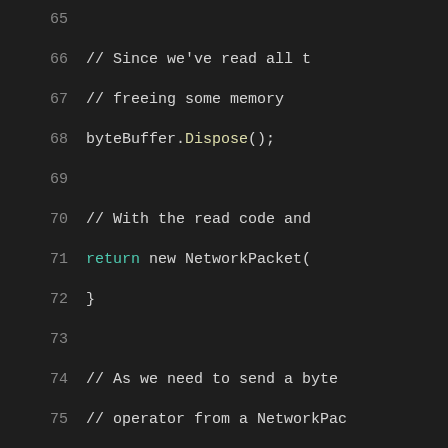[Figure (screenshot): Code editor screenshot showing C# source code lines 65-83 with dark theme. Lines include comments and code for byteBuffer.Dispose(), return new NetworkPacket(), and public static implicit operator declarations.]